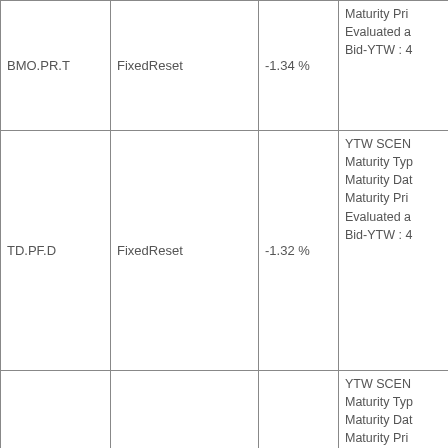| Ticker | Type | Change | Details |
| --- | --- | --- | --- |
| BMO.PR.T | FixedReset | -1.34 % | YTW SCEN...
Maturity Typ...
Maturity Dat...
Maturity Pri...
Evaluated a...
Bid-YTW : 4... |
| TD.PF.D | FixedReset | -1.32 % | YTW SCEN...
Maturity Typ...
Maturity Dat...
Maturity Pri...
Evaluated a...
Bid-YTW : 4... |
| GWO.PR.N | FixedReset | -1.27 % | YTW SCEN...
Maturity Typ...
Maturity Dat...
Maturity Pri...
Evaluated a...
Bid-YTW : 1... |
| MFC.PR.G | FixedReset | -1.26 % | YTW SCEN...
Maturity Typ...
Maturity Dat...
Maturity Pri...
Evaluated a...
Bid-YTW : 7... |
| SLF.PR.D | Deemed-Retractible | -1.23 % | YTW SCEN...
Maturity Typ...
Maturity Dat...
Maturity Pri... |